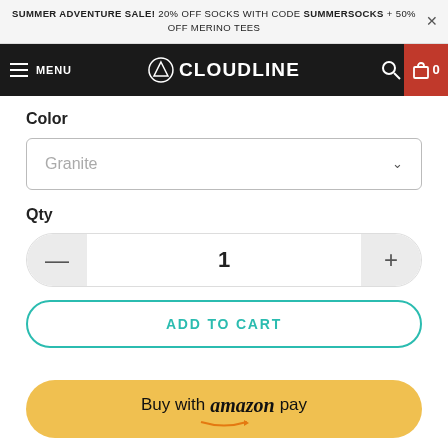SUMMER ADVENTURE SALE! 20% OFF SOCKS WITH CODE SUMMERSOCKS + 50% OFF MERINO TEES
[Figure (screenshot): Cloudline website navigation bar with hamburger menu, logo, search icon, and cart]
Color
Granite
Qty
1
ADD TO CART
Buy with amazon pay
Earn Rewards   ability, and comfort come together in this